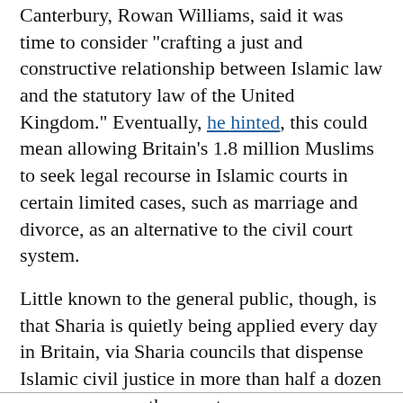Canterbury, Rowan Williams, said it was time to consider "crafting a just and constructive relationship between Islamic law and the statutory law of the United Kingdom." Eventually, he hinted, this could mean allowing Britain's 1.8 million Muslims to seek legal recourse in Islamic courts in certain limited cases, such as marriage and divorce, as an alternative to the civil court system.
Little known to the general public, though, is that Sharia is quietly being applied every day in Britain, via Sharia councils that dispense Islamic civil justice in more than half a dozen mosques across the country.
Read the complete original version of this item...